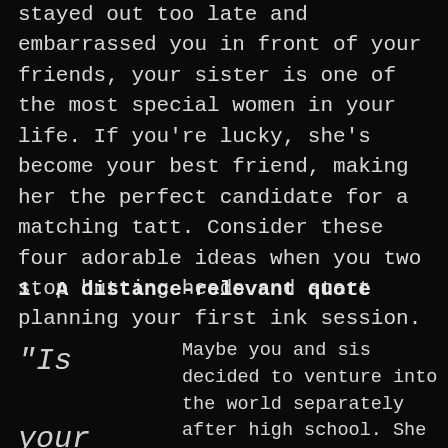stayed out too late and embarrassed you in front of your friends, your sister is one of the most special women in your life. If you're lucky, she's become your best friend, making her the perfect candidate for a matching tatt. Consider these four adorable ideas when you two stop butting heads and start planning your first ink session.
1. A distance-relevant quote
"Is your
Maybe you and sis decided to venture into the world separately after high school. She had a